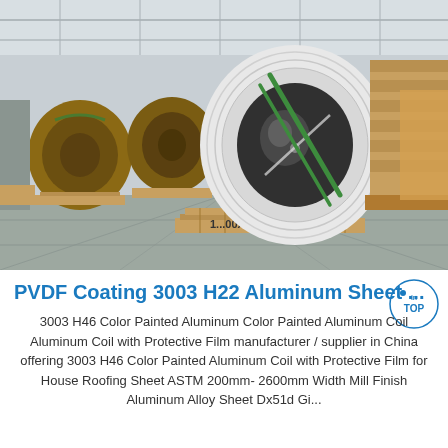[Figure (photo): Warehouse photo showing large aluminum coils on wooden pallets. A white aluminum coil is prominently in the foreground, with green straps securing it. Multiple brown paper-wrapped coils are visible in the background along with stacked rolls on shelving. A wooden pallet in the foreground shows text '1...00X25'.]
PVDF Coating 3003 H22 Aluminum Sheet ...
3003 H46 Color Painted Aluminum Color Painted Aluminum Coil Aluminum Coil with Protective Film manufacturer / supplier in China offering 3003 H46 Color Painted Aluminum Coil with Protective Film for House Roofing Sheet ASTM 200mm-2600mm Width Mill Finish Aluminum Alloy Sheet Dx51d Gi...